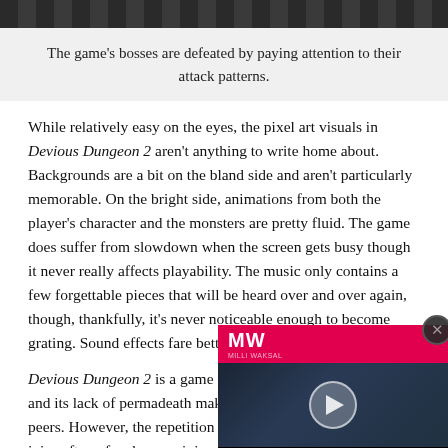[Figure (photo): Dark textured game screenshot bar at top of page]
The game's bosses are defeated by paying attention to their attack patterns.
While relatively easy on the eyes, the pixel art visuals in Devious Dungeon 2 aren't anything to write home about. Backgrounds are a bit on the bland side and aren't particularly memorable. On the bright side, animations from both the player's character and the monsters are pretty fluid. The game does suffer from slowdown when the screen gets busy though it never really affects playability. The music only contains a few forgettable pieces that will be heard over and over again, though, thankfully, it's never noticeable enough to become grating. Sound effects fare better as they [text obscured by overlay] slaying.
[Figure (screenshot): Call of Duty Warzone Operation Monarch Skins video overlay with MW logo, play button, and text]
Devious Dungeon 2 is a game tha[t text obscured] and its lack of permadeath makes [text obscured] to its peers. However, the repetition makes the gameplay run out of juice after a few hours, giving little incentive to go back. At the end of the day, the game never quite reaches beyond being [text cut off]